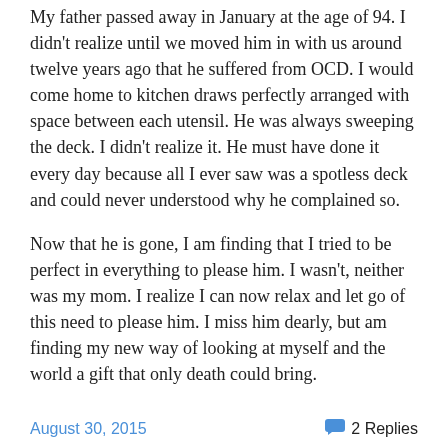My father passed away in January at the age of 94. I didn't realize until we moved him in with us around twelve years ago that he suffered from OCD. I would come home to kitchen draws perfectly arranged with space between each utensil. He was always sweeping the deck. I didn't realize it. He must have done it every day because all I ever saw was a spotless deck and could never understood why he complained so.
Now that he is gone, I am finding that I tried to be perfect in everything to please him. I wasn't, neither was my mom. I realize I can now relax and let go of this need to please him. I miss him dearly, but am finding my new way of looking at myself and the world a gift that only death could bring.
August 30, 2015   2 Replies